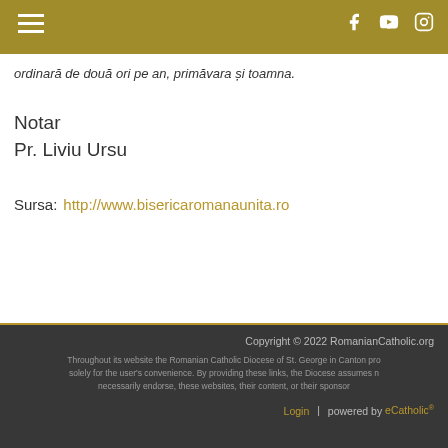[Navigation bar with hamburger menu and social icons: Facebook, YouTube, Instagram]
ordinară de două ori pe an, primăvara și toamna.
Notar
Pr. Liviu Ursu
Sursa:  http://www.bisericaromanaunita.ro
Copyright © 2022 RomanianCatholic.org
Throughout its website the Romanian Catholic Diocese of St. George in Canton pro... solely for the user's convenience. By providing these links, the Diocese assumes n... necessarily endorse, these websites, their content, or their sponsor...
Login | powered by eCatholic®